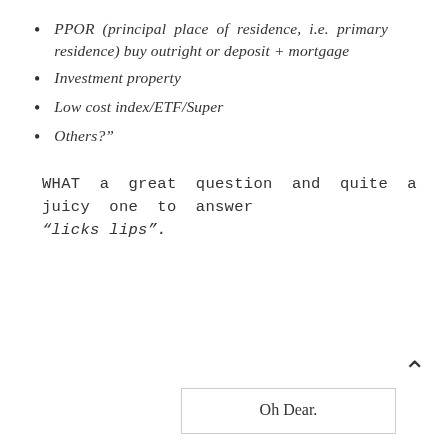PPOR (principal place of residence, i.e. primary residence) buy outright or deposit + mortgage
Investment property
Low cost index/ETF/Super
Others?"
WHAT a great question and quite a juicy one to answer “licks lips”.
Oh Dear.